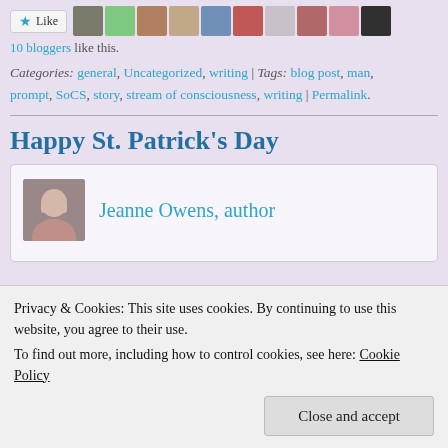[Figure (other): Like button with star icon followed by a row of blogger avatar thumbnails]
10 bloggers like this.
Categories: general, Uncategorized, writing | Tags: blog post, man, prompt, SoCS, story, stream of consciousness, writing | Permalink.
Happy St. Patrick's Day
[Figure (photo): Author card showing photo of Jeanne Owens and the name Jeanne Owens, author]
Privacy & Cookies: This site uses cookies. By continuing to use this website, you agree to their use.
To find out more, including how to control cookies, see here: Cookie Policy
Close and accept